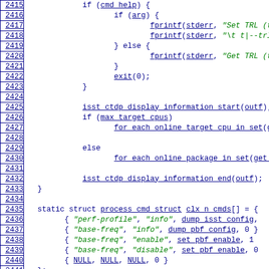[Figure (screenshot): Source code listing lines 2415-2444, showing C code with line numbers on the left in blue boxes, code in blue monospace font with green string literals. Functions include isst_ctdp_display_information, for_each_online_target_cpu_in_set, for_each_online_package_in_set, static struct definitions for clx_n_cmds and isst_cmds arrays.]